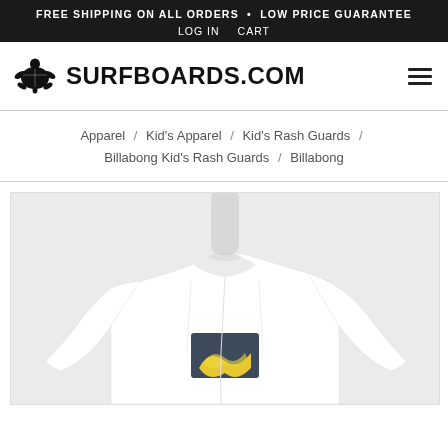FREE SHIPPING ON ALL ORDERS • LOW PRICE GUARANTEE
LOG IN   CART
[Figure (logo): Surfboards.com logo with turtle icon and bold text SURFBOARDS.COM, hamburger menu icon on right]
Apparel / Kid's Apparel / Kid's Rash Guards / Billabong Kid's Rash Guards / Billabong
[Figure (photo): White rash guard shirt on a headless white mannequin torso, with a Billabong logo graphic on the chest (dark blue/grey square with yellow wave design)]